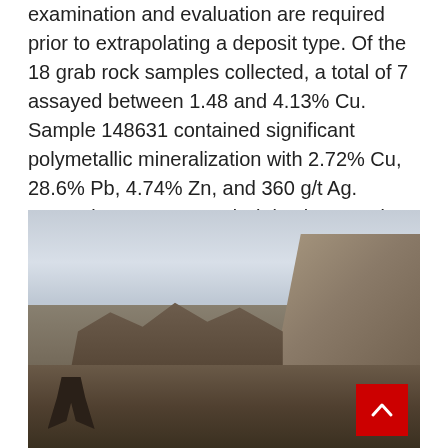examination and evaluation are required prior to extrapolating a deposit type. Of the 18 grab rock samples collected, a total of 7 assayed between 1.48 and 4.13% Cu. Sample 148631 contained significant polymetallic mineralization with 2.72% Cu, 28.6% Pb, 4.74% Zn, and 360 g/t Ag. Anomalous As, Hg, and Sb is also noted from a subset of the samples.
[Figure (photo): Photograph of a rocky mountainous outcrop under an overcast sky. A person crouches at the lower left among rocky debris. A large rocky mass rises on the right side. The terrain is barren with loose rock and rubble.]